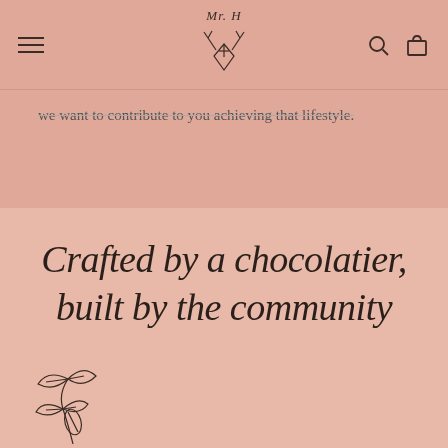Mr. H — navigation header with logo, hamburger menu, search and cart icons
we want to contribute to you achieving that lifestyle.
Crafted by a chocolatier, built by the community